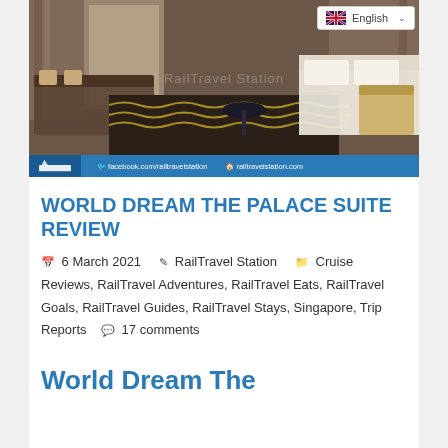[Figure (photo): Hotel room interior showing a decorative carpet with wave patterns, a sofa, a small round table, bed with white linen, and curtained windows. Blue bar at bottom with Rail Travel Station logo, facebook.com/railtravelstation and railtravelstation.com text.]
WORLD DREAM THE PALACE SUITE REVIEW
6 March 2021   RailTravel Station   Cruise Reviews, RailTravel Adventures, RailTravel Eats, RailTravel Goals, RailTravel Guides, RailTravel Stays, Singapore, Trip Reports   17 comments
World Dream The